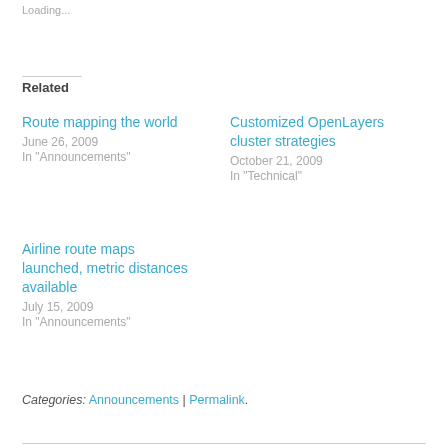Loading...
Related
Route mapping the world
June 26, 2009
In "Announcements"
Customized OpenLayers cluster strategies
October 21, 2009
In "Technical"
Airline route maps launched, metric distances available
July 15, 2009
In "Announcements"
Categories: Announcements | Permalink.